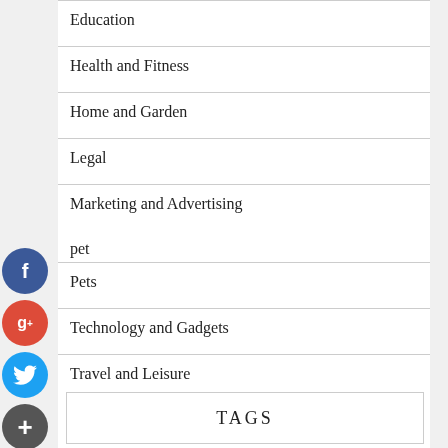Education
Health and Fitness
Home and Garden
Legal
Marketing and Advertising
pet
Pets
Technology and Gadgets
Travel and Leisure
TAGS